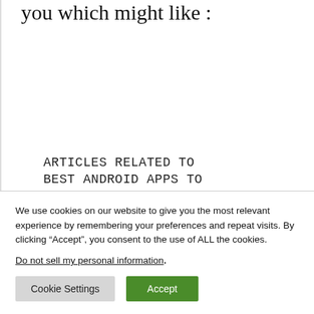you which might like :
ARTICLES RELATED TO BEST ANDROID APPS TO MEASURE ENVIRONMENTAL NOISE
Actually a list should normally appear here. Automated calculation
We use cookies on our website to give you the most relevant experience by remembering your preferences and repeat visits. By clicking “Accept”, you consent to the use of ALL the cookies.
Do not sell my personal information.